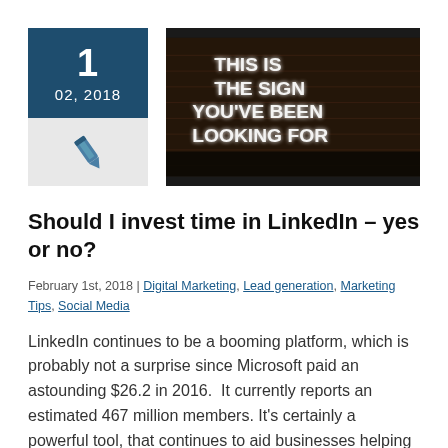[Figure (other): Date block showing '1' and '02, 2018' on dark teal background, with pen/pencil icon below on grey background]
[Figure (photo): Dark photo of a neon sign on a brick wall reading 'THIS IS THE SIGN YOU'VE BEEN LOOKING FOR']
Should I invest time in LinkedIn – yes or no?
February 1st, 2018 | Digital Marketing, Lead generation, Marketing Tips, Social Media
LinkedIn continues to be a booming platform, which is probably not a surprise since Microsoft paid an astounding $26.2 in 2016.  It currently reports an estimated 467 million members. It's certainly a powerful tool, that continues to aid businesses helping them showcase their products and services.